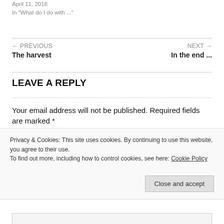April 11, 2018
In "What do I do with ..."
← PREVIOUS
The harvest
NEXT →
In the end ...
LEAVE A REPLY
Your email address will not be published. Required fields are marked *
Privacy & Cookies: This site uses cookies. By continuing to use this website, you agree to their use.
To find out more, including how to control cookies, see here: Cookie Policy
Close and accept